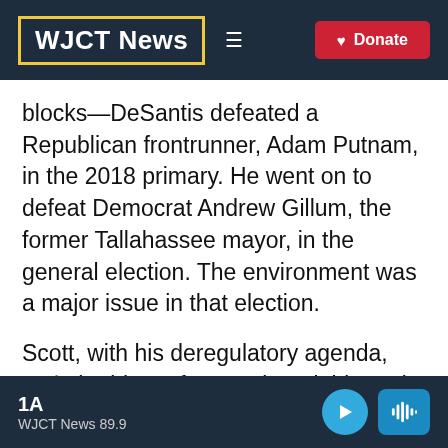WJCT News
blocks—DeSantis defeated a Republican frontrunner, Adam Putnam, in the 2018 primary. He went on to defeat Democrat Andrew Gillum, the former Tallahassee mayor, in the general election. The environment was a major issue in that election.
Scott, with his deregulatory agenda, took the blame for a toxic red tide and blue-green
1A
WJCT News 89.9